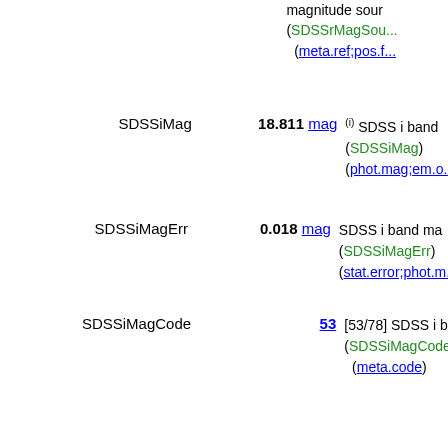magnitude source (SDSSrMagSource) (meta.ref;pos.f...
SDSSiMag  18.811 mag  (i) SDSS i band ... (SDSSiMag) (phot.mag;em.o...
SDSSiMagErr  0.018 mag  SDSS i band magnitude error (SDSSiMagErr) (stat.error;phot.m...
SDSSiMagCode  53  [53/78] SDSS i band ... (SDSSiMagCode) (meta.code)
SDSSiMagSource  17  [16/32] SDSS i band magnitude source (SDSSiMagSource) (meta.ref;pos.f...
SDSSzMag  18.722 mag  (i) SDSS z band ... (SDSSzMag) (phot.mag;em.o...
SDSSzMagErr  0.051 mag  SDSS z band magnitude error (SDSSzMagErr) (stat.error;phot.m...
SDSSzMagCode  54  [54/79] SDSS z ...